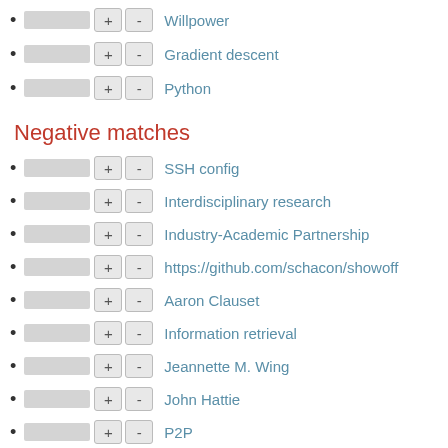Willpower
Gradient descent
Python
Negative matches
SSH config
Interdisciplinary research
Industry-Academic Partnership
https://github.com/schacon/showoff
Aaron Clauset
Information retrieval
Jeannette M. Wing
John Hattie
P2P
Flip teaching
On Course
Harriet Zuckerman↑